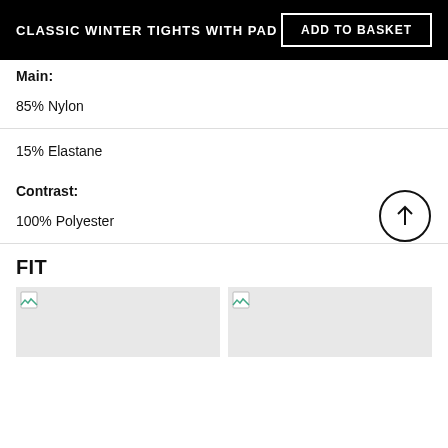CLASSIC WINTER TIGHTS WITH PAD | ADD TO BASKET
Main:
85% Nylon
15% Elastane
Contrast:
100% Polyester
FIT
[Figure (photo): Product fit image placeholder 1]
[Figure (photo): Product fit image placeholder 2]